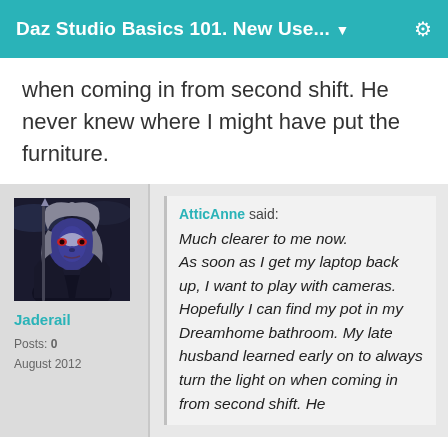Daz Studio Basics 101. New Use... ▼
when coming in from second shift. He never knew where I might have put the furniture.
[Figure (photo): Avatar image of forum user Jaderail — a dark fantasy character with grey hair, blue face paint, and a dark background]
Jaderail
Posts: 0
August 2012
AtticAnne said:
Much clearer to me now. As soon as I get my laptop back up, I want to play with cameras. Hopefully I can find my pot in my Dreamhome bathroom. My late husband learned early on to always turn the light on when coming in from second shift. He